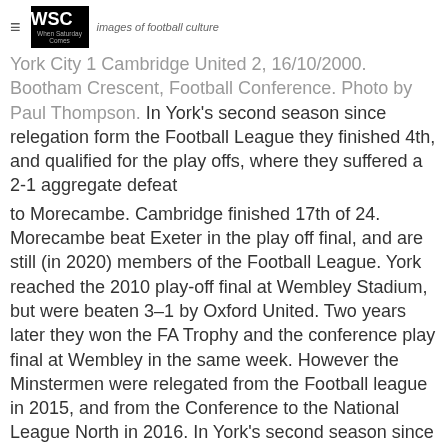WSC — images of football culture
York City 1 Cambridge United 2, 16/10/2000. Bootham Crescent, Football Conference. Photo by Paul Thompson. In York's second season since relegation form the Football League they finished 4th, and qualified for the play offs, where they suffered a 2-1 aggregate defeat
to Morecambe. Cambridge finished 17th of 24. Morecambe beat Exeter in the play off final, and are still (in 2020) members of the Football League. York reached the 2010 play-off final at Wembley Stadium, but were beaten 3–1 by Oxford United. Two years later they won the FA Trophy and the conference play final at Wembley in the same week. However the Minstermen were relegated from the Football league in 2015, and from the Conference to the National League North in 2016. In York's second season since relegation form the Football League they finished 4th, and qualified for the play offs, where they suffered a 2-1 aggregate defeat
to Morecambe. Cambridge finished 17th of 24. Morecambe beat